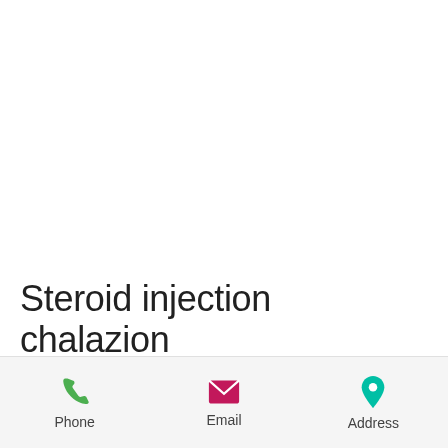Steroid injection chalazion
Cortisone injection shoulder bodybuilding, cortisone injection shoulder bodybuilding An undetermined percentage of steroid users
[Figure (other): Mobile app bottom navigation bar with Phone, Email, and Address icons]
Phone | Email | Address